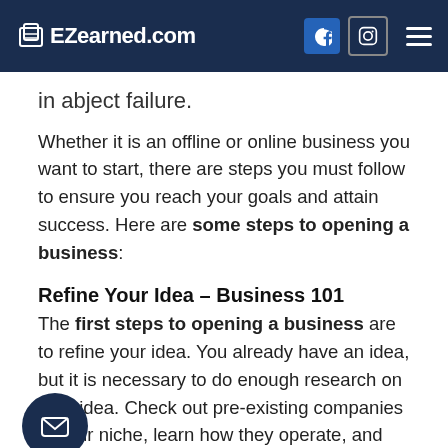EZearned.com
in abject failure.
Whether it is an offline or online business you want to start, there are steps you must follow to ensure you reach your goals and attain success. Here are some steps to opening a business:
Refine Your Idea – Business 101
The first steps to opening a business are to refine your idea. You already have an idea, but it is necessary to do enough research on your idea. Check out pre-existing companies in your niche, learn how they operate, and